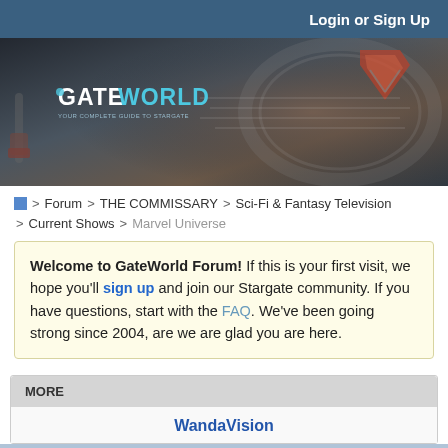Login or Sign Up
[Figure (illustration): GateWorld website banner with Stargate-themed background imagery showing mechanical/sci-fi elements. GateWorld logo in top-left with tagline 'Your complete guide to Stargate'.]
> Forum > THE COMMISSARY > Sci-Fi & Fantasy Television > Current Shows > Marvel Universe
Welcome to GateWorld Forum! If this is your first visit, we hope you'll sign up and join our Stargate community. If you have questions, start with the FAQ. We've been going strong since 2004, are we are glad you are here.
MORE
WandaVision